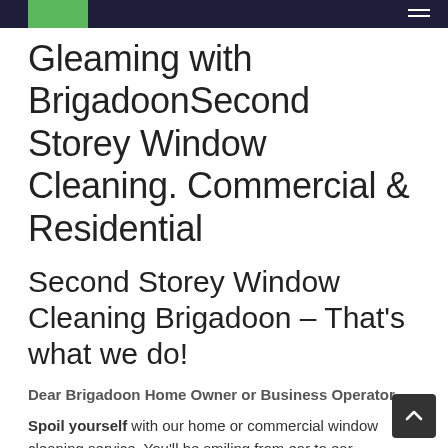Gleaming with BrigadoonSecond Storey Window Cleaning. Commercial & Residential
Second Storey Window Cleaning Brigadoon – That's what we do!
Dear Brigadoon Home Owner or Business Operator.
Spoil yourself with our home or commercial window cleaning service. You'll be smiling from ear to ear.
Ok, so that might sound a little too corny, but I see day after day the radiant smiles that come on my client's faces when all their windows have been professionally